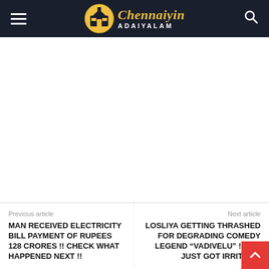Chennaiyin Adaiyalam
Previous article
MAN RECEIVED ELECTRICITY BILL PAYMENT OF RUPEES 128 CRORES !! CHECK WHAT HAPPENED NEXT !!
Next article
LOSLIYA GETTING THRASHED FOR DEGRADING COMEDY LEGEND “VADIVELU” !! TH.. JUST GOT IRRITATI..